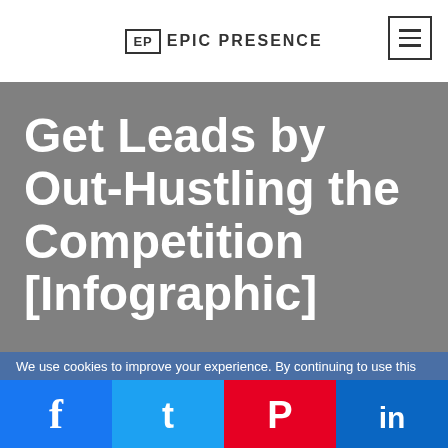EP EPIC PRESENCE
Get Leads by Out-Hustling the Competition [Infographic]
We use cookies to improve your experience. By continuing to use this
[Figure (infographic): Social sharing buttons: Facebook, Twitter, Pinterest, LinkedIn]